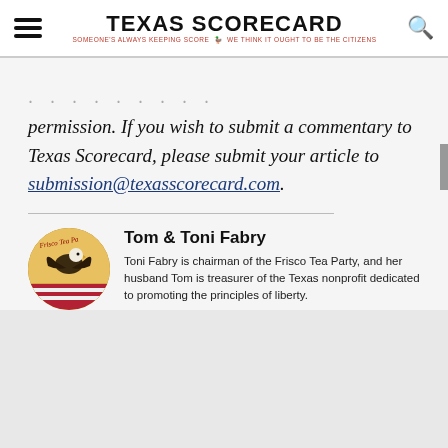TEXAS SCORECARD — SOMEONE'S ALWAYS KEEPING SCORE — WE THINK IT OUGHT TO BE THE CITIZENS
permission. If you wish to submit a commentary to Texas Scorecard, please submit your article to submission@texasscorecard.com.
[Figure (photo): Circular profile photo of Tom & Toni Fabry showing a bald eagle with American flag background, Tea Party themed image]
Tom & Toni Fabry
Toni Fabry is chairman of the Frisco Tea Party, and her husband Tom is treasurer of the Texas nonprofit dedicated to promoting the principles of liberty.